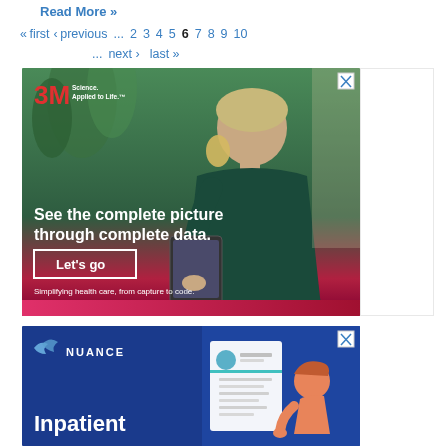Read More »
« first ‹ previous ... 2 3 4 5 6 7 8 9 10 ... next › last »
[Figure (photo): 3M advertisement: Woman looking at tablet, with text 'See the complete picture through complete data. Let's go. Simplifying health care, from capture to code.']
[Figure (photo): Nuance advertisement: Blue background with Nuance logo and text 'Inpatient' with illustration of medical document and character on the right side]